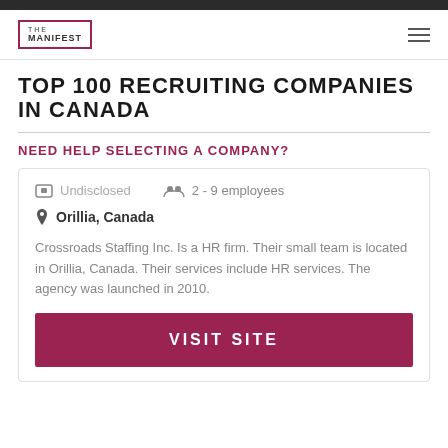THE MANIFEST
TOP 100 RECRUITING COMPANIES IN CANADA
NEED HELP SELECTING A COMPANY?
Undisclosed  2 - 9 employees  Orillia, Canada
Crossroads Staffing Inc. Is a HR firm. Their small team is located in Orillia, Canada. Their services include HR services. The agency was launched in 2010.
VISIT SITE